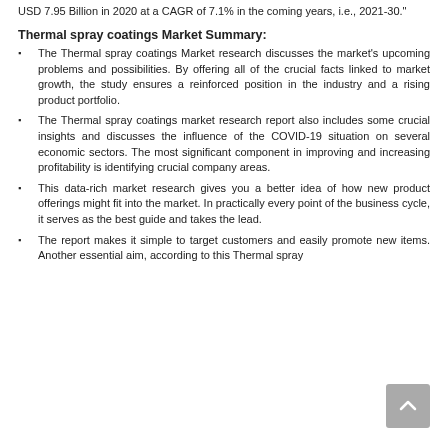USD 7.95 Billion in 2020 at a CAGR of 7.1% in the coming years, i.e., 2021-30."
Thermal spray coatings Market Summary:
The Thermal spray coatings Market research discusses the market's upcoming problems and possibilities. By offering all of the crucial facts linked to market growth, the study ensures a reinforced position in the industry and a rising product portfolio.
The Thermal spray coatings market research report also includes some crucial insights and discusses the influence of the COVID-19 situation on several economic sectors. The most significant component in improving and increasing profitability is identifying crucial company areas.
This data-rich market research gives you a better idea of how new product offerings might fit into the market. In practically every point of the business cycle, it serves as the best guide and takes the lead.
The report makes it simple to target customers and easily promote new items. Another essential aim, according to this Thermal spray coatings market is improving and fostering relationships with major